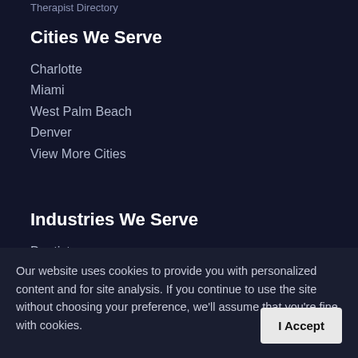Therapist Directory
Cities We Serve
Charlotte
Miami
West Palm Beach
Denver
View More Cities
Industries We Serve
Dentists
Psychologists
Keynote Speakers
Law Firms
View More Industries
Our website uses cookies to provide you with personalized content and for site analysis. If you continue to use the site without choosing your preference, we'll assume that you're fine with cookies.
About Us
Our Portfolio